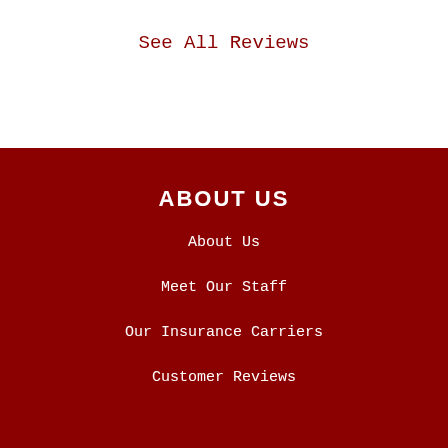See All Reviews
ABOUT US
About Us
Meet Our Staff
Our Insurance Carriers
Customer Reviews